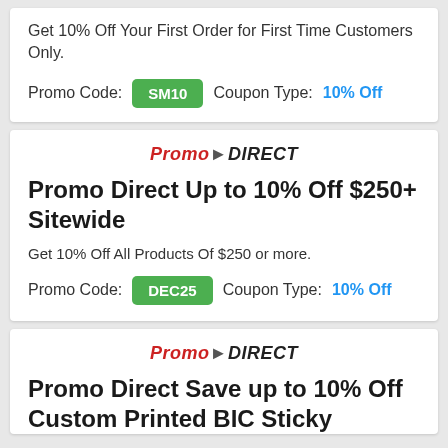Get 10% Off Your First Order for First Time Customers Only.
Promo Code: SM10  Coupon Type: 10% Off
[Figure (logo): Promo Direct logo — red italic bold text]
Promo Direct Up to 10% Off $250+ Sitewide
Get 10% Off All Products Of $250 or more.
Promo Code: DEC25  Coupon Type: 10% Off
[Figure (logo): Promo Direct logo — red italic bold text]
Promo Direct Save up to 10% Off Custom Printed BIC Sticky